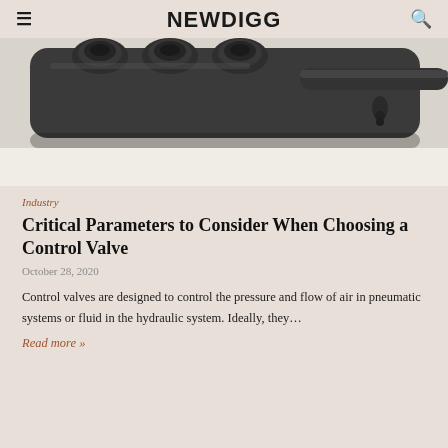NEWDIGG
[Figure (photo): Close-up photo of a dark metallic hydraulic or pneumatic control valve manifold component showing ports and fittings against a light background]
Industry
Critical Parameters to Consider When Choosing a Control Valve
October 28, 2020
Control valves are designed to control the pressure and flow of air in pneumatic systems or fluid in the hydraulic system. Ideally, they…
Read more »